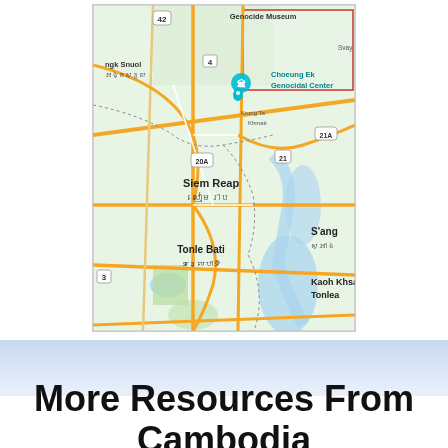[Figure (map): Google Maps view of Phnom Penh area, Cambodia, showing locations including Genocide Museum, Choeung Ek Genocidal Center, Siem Reap, Tonle Bati, S'ang, Kaoh Khsach Tonlea, and road numbers 3, 4, 20A, 21, 21A, 42.]
More Resources From Cambodia